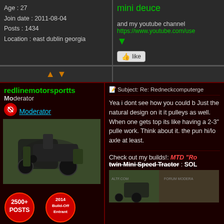Age : 27
Join date : 2011-08-04
Posts : 1434
Location : east dublin georgia
mini deuce

and my youtube channel
https://www.youtube.com/use
[Figure (other): Orange up/down navigation arrows]
redlinemotorsportts
Moderator
Moderator
[Figure (photo): Person with ATV stuck in mud]
Subject: Re: Redneckcomputerge
Yea i dont see how you could b Just the natural design on it it pulleys as well. When one gets top its like having a 2-3" pulle work. Think about it. the pun hi/lo axle at least.
2500+ POSTS badge, 2014 Build-Off Entrant badge
Age : 25
Join date : 2013-03-18
Posts : 3129
Check out my builds!: MTD "Ro twin Mini Speed Tractor : SOL
[Figure (photo): Vehicle/tractor build photo with FORUM MODERATOR overlay]